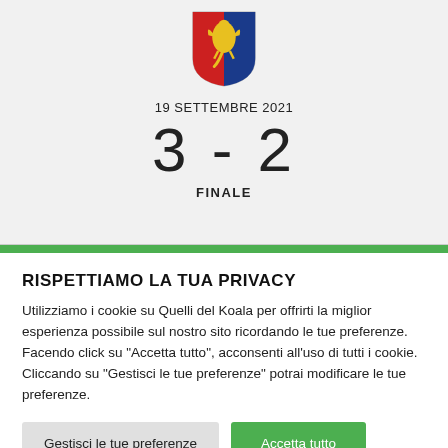[Figure (logo): Genoa CFC shield/crest logo with red and blue halves and golden griffin]
19 SETTEMBRE 2021
3 - 2
FINALE
RISPETTIAMO LA TUA PRIVACY
Utilizziamo i cookie su Quelli del Koala per offrirti la miglior esperienza possibile sul nostro sito ricordando le tue preferenze. Facendo click su "Accetta tutto", acconsenti all'uso di tutti i cookie. Cliccando su "Gestisci le tue preferenze" potrai modificare le tue preferenze.
Gestisci le tue preferenze
Accetta tutto